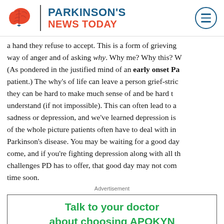Parkinson's News Today
a hand they refuse to accept. This is a form of grieving way of anger and of asking why. Why me? Why this? W (As pondered in the justified mind of an early onset Pa patient.) The why's of life can leave a person grief-stric they can be hard to make much sense of and be hard t understand (if not impossible). This can often lead to a sadness or depression, and we've learned depression is of the whole picture patients often have to deal with in Parkinson's disease. You may be waiting for a good day come, and if you're fighting depression along with all t challenges PD has to offer, that good day may not com time soon.
Advertisement
[Figure (other): Advertisement banner: Talk to your doctor about choosing APOKYN]
Join ... share y... tips on how to keep you... and stay strong...
Affliction...